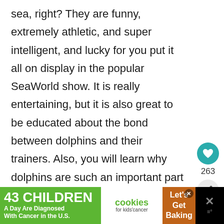sea, right? They are funny, extremely athletic, and super intelligent, and lucky for you put it all on display in the popular SeaWorld show. It is really entertaining, but it is also great to be educated about the bond between dolphins and their trainers. Also, you will learn why dolphins are such an important part of our world. If it is a hot day be sure to send your kids down to the splash zone where they are sure to get cooled off by a splash or two!
[Figure (other): Heart/like button (teal circle with white heart icon), count 263, and share button]
[Figure (other): Advertisement banner: '43 CHILDREN A Day Are Diagnosed With Cancer in the U.S.' with cookies for kids cancer logo and 'Let's Get Baking' text]